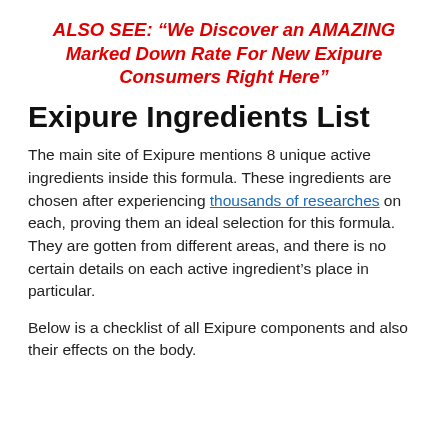ALSO SEE: "We Discover an AMAZING Marked Down Rate For New Exipure Consumers Right Here"
Exipure Ingredients List
The main site of Exipure mentions 8 unique active ingredients inside this formula. These ingredients are chosen after experiencing thousands of researches on each, proving them an ideal selection for this formula. They are gotten from different areas, and there is no certain details on each active ingredient's place in particular.
Below is a checklist of all Exipure components and also their effects on the body.